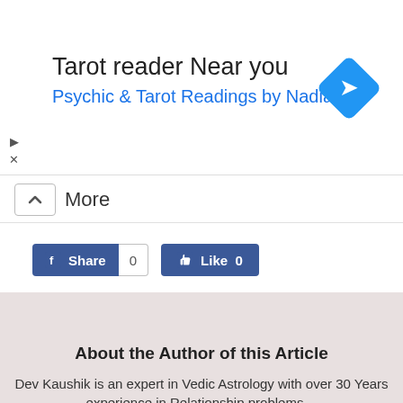[Figure (screenshot): Advertisement banner: 'Tarot reader Near you / Psychic & Tarot Readings by Nadia' with a blue diamond navigation icon on the right, and play/close controls on the left]
More
[Figure (screenshot): Facebook Share button with count 0 and a blue Like button with thumbs up icon showing Like 0]
[Figure (photo): Headshot photo of a middle-aged man wearing glasses and a suit on a light beige background]
About the Author of this Article
Dev Kaushik is an expert in Vedic Astrology with over 30 Years experience in Relationship problems…